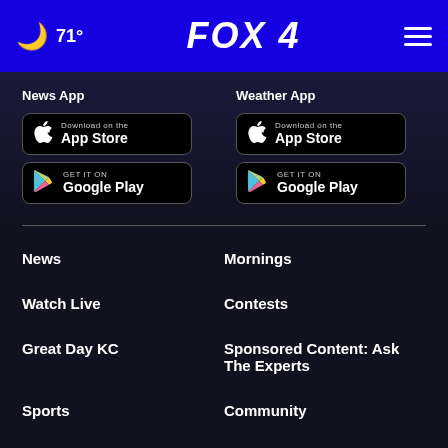🌙 71° FOX 4 ☰
News App
[Figure (logo): Download on the App Store button (News App)]
[Figure (logo): Get it on Google Play button (News App)]
Weather App
[Figure (logo): Download on the App Store button (Weather App)]
[Figure (logo): Get it on Google Play button (Weather App)]
News
Mornings
Watch Live
Contests
Great Day KC
Sponsored Content: Ask The Experts
Sports
Community